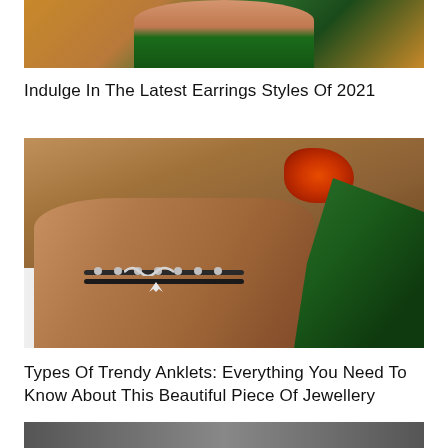[Figure (photo): Partial photo of a woman wearing a green tropical print off-shoulder top, cropped showing upper body against an orange/golden background]
Indulge In The Latest Earrings Styles Of 2021
[Figure (photo): Close-up photo of a person's ankle wearing two layered anklets — one with small silver beads and a wave charm, another with a fish tail/mermaid tail charm — with an orange tropical flower and green palm leaves in the background]
Types Of Trendy Anklets: Everything You Need To Know About This Beautiful Piece Of Jewellery
[Figure (photo): Bottom portion of a third article image, partially visible at the bottom of the page]